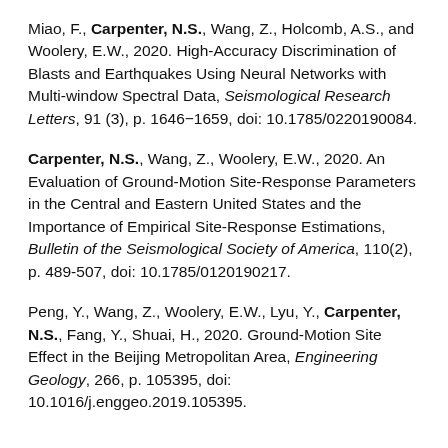Miao, F., Carpenter, N.S., Wang, Z., Holcomb, A.S., and Woolery, E.W., 2020. High-Accuracy Discrimination of Blasts and Earthquakes Using Neural Networks with Multi-window Spectral Data, Seismological Research Letters, 91 (3), p. 1646−1659, doi: 10.1785/0220190084.
Carpenter, N.S., Wang, Z., Woolery, E.W., 2020. An Evaluation of Ground-Motion Site-Response Parameters in the Central and Eastern United States and the Importance of Empirical Site-Response Estimations, Bulletin of the Seismological Society of America, 110(2), p. 489-507, doi: 10.1785/0120190217.
Peng, Y., Wang, Z., Woolery, E.W., Lyu, Y., Carpenter, N.S., Fang, Y., Shuai, H., 2020. Ground-Motion Site Effect in the Beijing Metropolitan Area, Engineering Geology, 266, p. 105395, doi: 10.1016/j.enggeo.2019.105395.